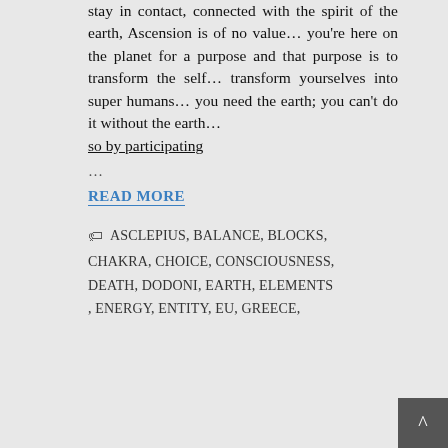stay in contact, connected with the spirit of the earth, Ascension is of no value… you're here on the planet for a purpose and that purpose is to transform the self… transform yourselves into super humans… you need the earth; you can't do it without the earth… so by participating
...
READ MORE
ASCLEPIUS, BALANCE, BLOCKS, CHAKRA, CHOICE, CONSCIOUSNESS, DEATH, DODONI, EARTH, ELEMENTS , ENERGY, ENTITY, EU, GREECE,